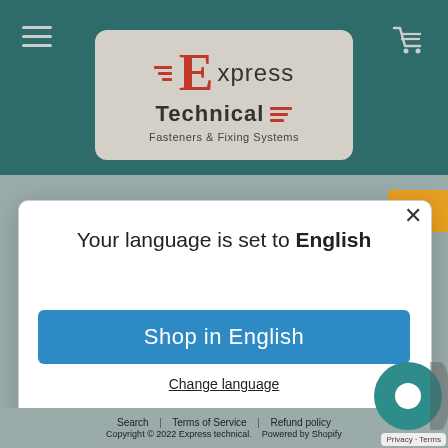[Figure (logo): Express Technical Fasteners & Fixing Systems logo in a rounded rectangle with red E and lines]
Your language is set to English
Shop in English
Change language
Search | Terms of Service | Refund policy
Copyright © 2022 Express technical.
Powered by Shopify